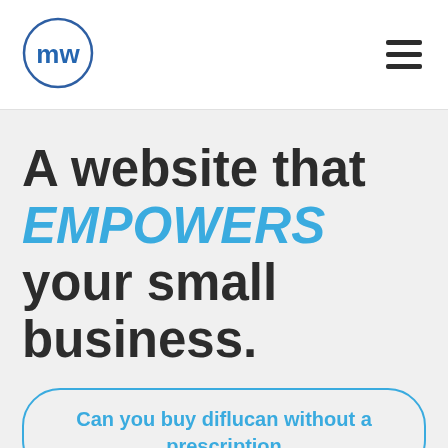[Figure (logo): mw logo inside a blue circle, with 'mw' in blue stylized text]
A website that EMPOWERS your small business.
Can you buy diflucan without a prescription